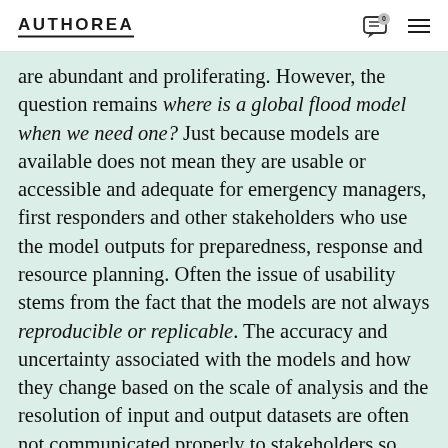AUTHOREA
are abundant and proliferating. However, the question remains where is a global flood model when we need one? Just because models are available does not mean they are usable or accessible and adequate for emergency managers, first responders and other stakeholders who use the model outputs for preparedness, response and resource planning. Often the issue of usability stems from the fact that the models are not always reproducible or replicable. The accuracy and uncertainty associated with the models and how they change based on the scale of analysis and the resolution of input and output datasets are often not communicated properly to stakeholders so they can be part of their decision-